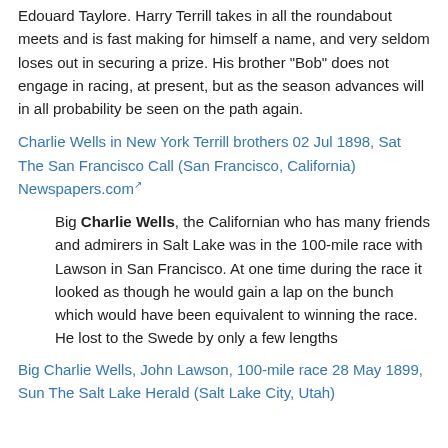Edouard Taylore. Harry Terrill takes in all the roundabout meets and is fast making for himself a name, and very seldom loses out in securing a prize. His brother "Bob" does not engage in racing, at present, but as the season advances will in all probability be seen on the path again.
Charlie Wells in New York Terrill brothers 02 Jul 1898, Sat The San Francisco Call (San Francisco, California) Newspapers.com[external link]
Big Charlie Wells, the Californian who has many friends and admirers in Salt Lake was in the 100-mile race with Lawson in San Francisco. At one time during the race it looked as though he would gain a lap on the bunch which would have been equivalent to winning the race. He lost to the Swede by only a few lengths
Big Charlie Wells, John Lawson, 100-mile race 28 May 1899, Sun The Salt Lake Herald (Salt Lake City, Utah)